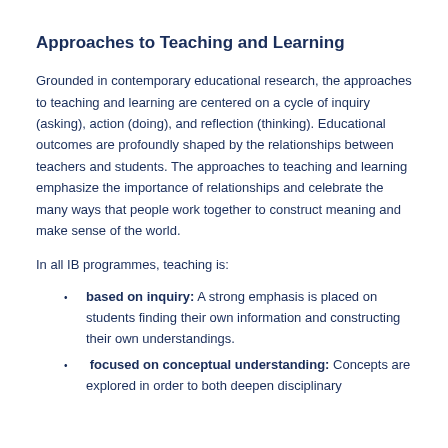Approaches to Teaching and Learning
Grounded in contemporary educational research, the approaches to teaching and learning are centered on a cycle of inquiry (asking), action (doing), and reflection (thinking). Educational outcomes are profoundly shaped by the relationships between teachers and students. The approaches to teaching and learning emphasize the importance of relationships and celebrate the many ways that people work together to construct meaning and make sense of the world.
In all IB programmes, teaching is:
based on inquiry: A strong emphasis is placed on students finding their own information and constructing their own understandings.
focused on conceptual understanding: Concepts are explored in order to both deepen disciplinary